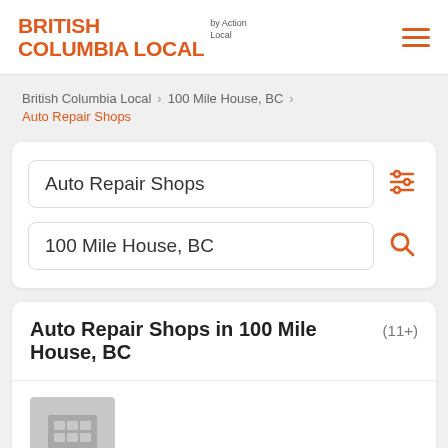BRITISH COLUMBIA LOCAL by Action Local
British Columbia Local > 100 Mile House, BC > Auto Repair Shops
Auto Repair Shops
100 Mile House, BC
Auto Repair Shops in 100 Mile House, BC (11+)
[Figure (illustration): Building/business placeholder image icon (gray square with grid of windows and door)]